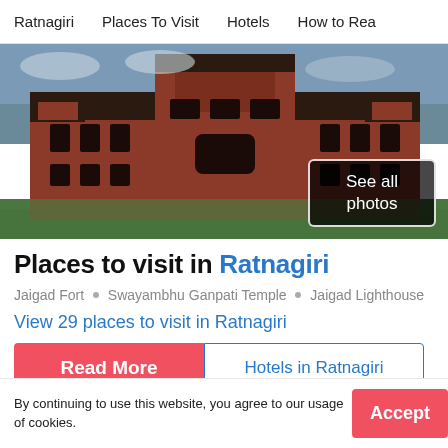Ratnagiri  •  Places To Visit  •  Hotels  •  How to Rea
[Figure (photo): Large heritage building with red brick architecture, multiple towers, arched windows, dark tiled roofs, surrounded by green grass. Overlay button reads 'See all photos'.]
Places to visit in Ratnagiri
Jaigad Fort • Swayambhu Ganpati Temple • Jaigad Lighthouse
View 29 places to visit in Ratnagiri
Read More  |  Hotels in Ratnagiri
By continuing to use this website, you agree to our usage of cookies.